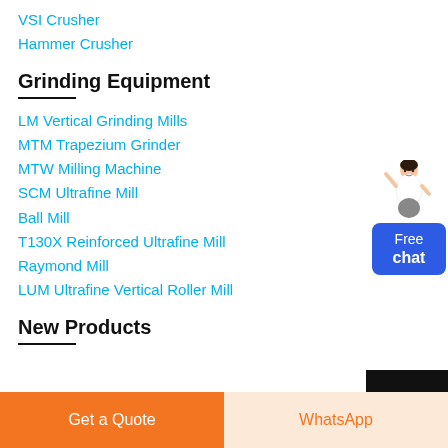VSI Crusher
Hammer Crusher
Grinding Equipment
LM Vertical Grinding Mills
MTM Trapezium Grinder
MTW Milling Machine
SCM Ultrafine Mill
Ball Mill
T130X Reinforced Ultrafine Mill
Raymond Mill
LUM Ultrafine Vertical Roller Mill
New Products
[Figure (illustration): Free chat widget with person illustration and blue button]
Get a Quote
WhatsApp